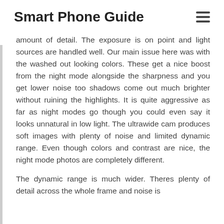Smart Phone Guide
amount of detail. The exposure is on point and light sources are handled well. Our main issue here was with the washed out looking colors. These get a nice boost from the night mode alongside the sharpness and you get lower noise too shadows come out much brighter without ruining the highlights. It is quite aggressive as far as night modes go though you could even say it looks unnatural in low light. The ultrawide cam produces soft images with plenty of noise and limited dynamic range. Even though colors and contrast are nice, the night mode photos are completely different.
The dynamic range is much wider. Theres plenty of detail across the whole frame and noise is